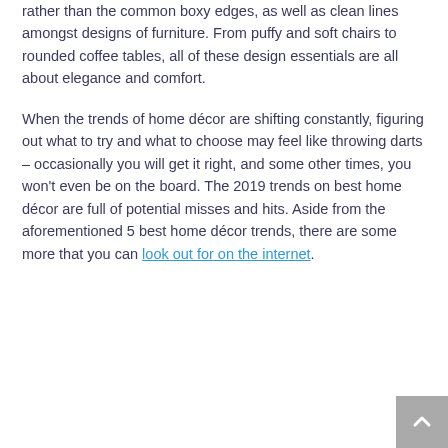rather than the common boxy edges, as well as clean lines amongst designs of furniture. From puffy and soft chairs to rounded coffee tables, all of these design essentials are all about elegance and comfort.
When the trends of home décor are shifting constantly, figuring out what to try and what to choose may feel like throwing darts – occasionally you will get it right, and some other times, you won't even be on the board. The 2019 trends on best home décor are full of potential misses and hits. Aside from the aforementioned 5 best home décor trends, there are some more that you can look out for on the internet.